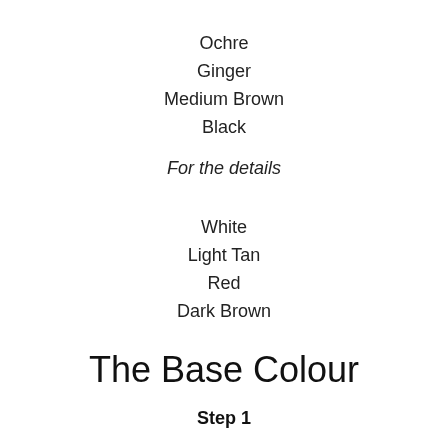Ochre
Ginger
Medium Brown
Black
For the details
White
Light Tan
Red
Dark Brown
The Base Colour
Step 1